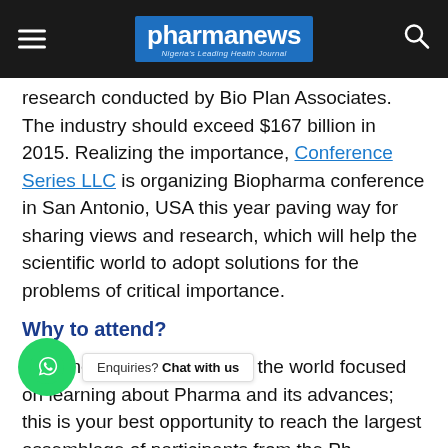pharmanews — Nigeria's Leading Health Journal
research conducted by Bio Plan Associates. The industry should exceed $167 billion in 2015. Realizing the importance, Conference Series LLC is organizing Biopharma conference in San Antonio, USA this year paving way for sharing views and research, which will help the scientific world to adopt solutions for the problems of critical importance.
Why to attend?
With members from around the world focused on learning about Pharma and its advances; this is your best opportunity to reach the largest assemblage of participants from the Ph... sentations, distribute information, meet with current and potential scientists, make a splash with new drug developments, and receive name